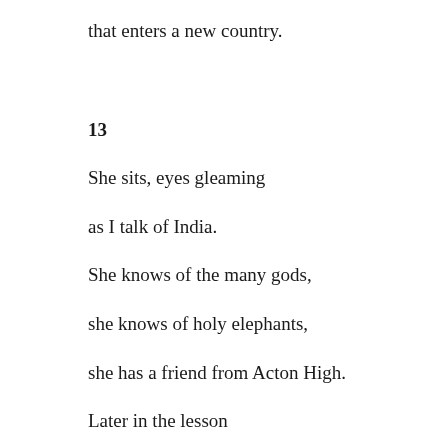that enters a new country.
13
She sits, eyes gleaming
as I talk of India.
She knows of the many gods,
she knows of holy elephants,
she has a friend from Acton High.
Later in the lesson
this girl from Ghana
screams, sinks on the floor